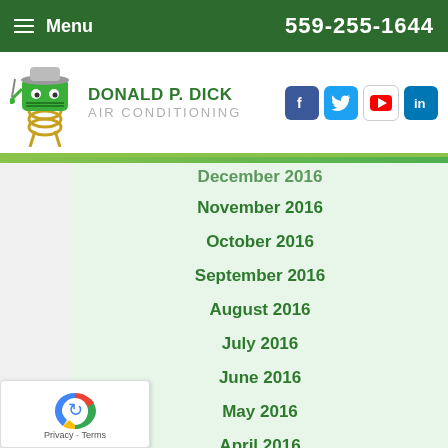Menu  559-255-1644
[Figure (logo): Donald P. Dick Air Conditioning logo with mascot character and company name]
December 2016
November 2016
October 2016
September 2016
August 2016
July 2016
June 2016
May 2016
April 2016
March 2016